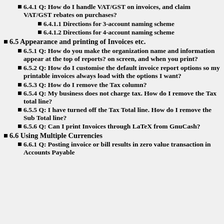6.4.1  Q: How do I handle VAT/GST on invoices, and claim VAT/GST rebates on purchases?
6.4.1.1  Directions for 3-account naming scheme
6.4.1.2  Directions for 4-account naming scheme
6.5  Appearance and printing of Invoices etc.
6.5.1  Q: How do you make the organization name and information appear at the top of reports? on screen, and when you print?
6.5.2  Q: How do I customise the default invoice report options so my printable invoices always load with the options I want?
6.5.3  Q: How do I remove the Tax column?
6.5.4  Q: My business does not charge tax. How do I remove the Tax total line?
6.5.5  Q: I have turned off the Tax Total line. How do I remove the Sub Total line?
6.5.6  Q: Can I print Invoices through LaTeX from GnuCash?
6.6  Using Multiple Currencies
6.6.1  Q: Posting invoice or bill results in zero value transaction in Accounts Payable